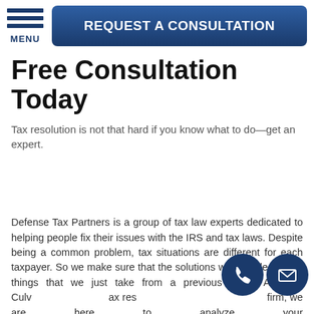MENU | REQUEST A CONSULTATION
Free Consultation Today
Tax resolution is not that hard if you know what to do—get an expert.
Defense Tax Partners is a group of tax law experts dedicated to helping people fix their issues with the IRS and tax laws. Despite being a common problem, tax situations are different for each taxpayer. So we make sure that the solutions we provide are not things that we just take from a previous client. As your Culver tax resolution firm, we are here to analyze your situation, provide a specialized legal strategy, and offer the best of our expertise